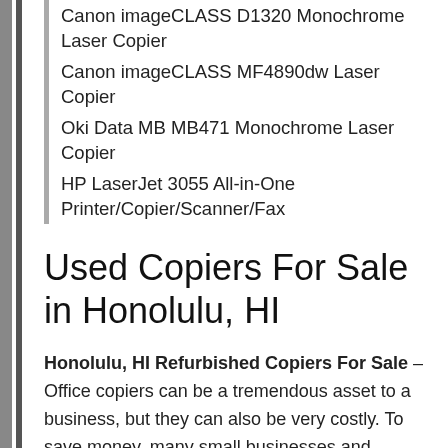Canon imageCLASS D1320 Monochrome Laser Copier
Canon imageCLASS MF4890dw Laser Copier
Oki Data MB MB471 Monochrome Laser Copier
HP LaserJet 3055 All-in-One Printer/Copier/Scanner/Fax
Used Copiers For Sale in Honolulu, HI
Honolulu, HI Refurbished Copiers For Sale – Office copiers can be a tremendous asset to a business, but they can also be very costly. To save money, many small businesses and offices…